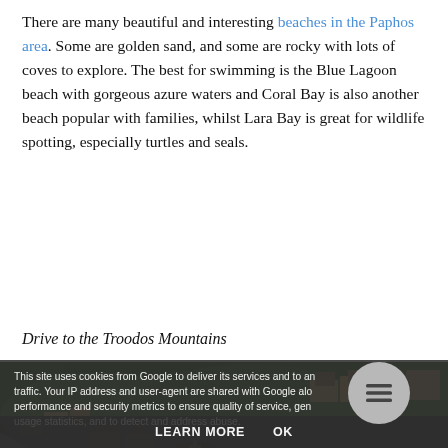There are many beautiful and interesting beaches in the Paphos area. Some are golden sand, and some are rocky with lots of coves to explore. The best for swimming is the Blue Lagoon beach with gorgeous azure waters and Coral Bay is also another beach popular with families, whilst Lara Bay is great for wildlife spotting, especially turtles and seals.
Drive to the Troodos Mountains
[Figure (photo): A hillside village in the Troodos Mountains area of Cyprus, showing a white Orthodox church with red dome in the foreground and traditional stone and plaster houses climbing up the densely forested hillside behind it.]
This site uses cookies from Google to deliver its services and to analyse traffic. Your IP address and user-agent are shared with Google along with performance and security metrics to ensure quality of service, generate usage statistics, and to detect and address abuse.
LEARN MORE   OK